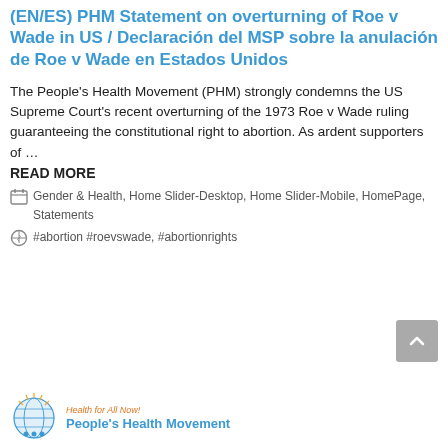(EN/ES) PHM Statement on overturning of Roe v Wade in US / Declaración del MSP sobre la anulación de Roe v Wade en Estados Unidos
The People's Health Movement (PHM) strongly condemns the US Supreme Court's recent overturning of the 1973 Roe v Wade ruling guaranteeing the constitutional right to abortion. As ardent supporters of …
READ MORE
Gender & Health, Home Slider-Desktop, Home Slider-Mobile, HomePage, Statements
#abortion #roevswade, #abortionrights
[Figure (logo): People's Health Movement logo with globe icon, tagline 'Health for All Now!' and organization name in blue]